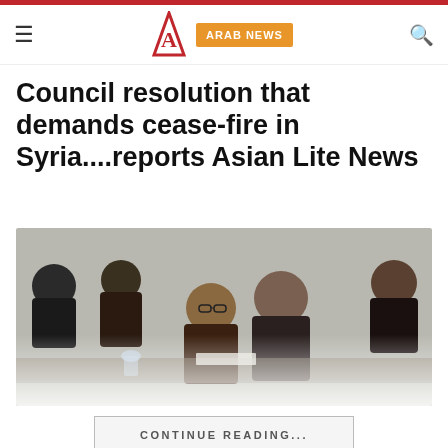Arab News
Council resolution that demands cease-fire in Syria....reports Asian Lite News
[Figure (photo): Multiple diplomats and officials seated at a conference table, dressed in dark suits, appearing to be at a UN Security Council meeting. Several individuals are engaged in conversation or looking at documents.]
CONTINUE READING...